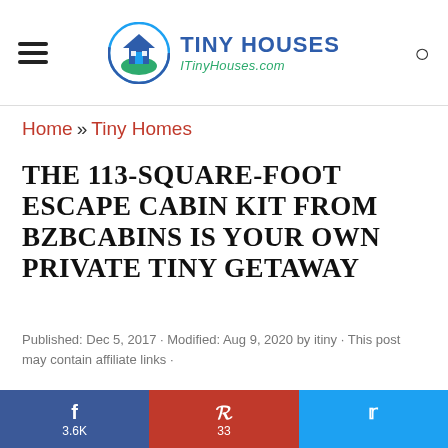TINY HOUSES | TinyHouses.com
Home » Tiny Homes
THE 113-SQUARE-FOOT ESCAPE CABIN KIT FROM BZBCABINS IS YOUR OWN PRIVATE TINY GETAWAY
Published: Dec 5, 2017 · Modified: Aug 9, 2020 by itiny · This post may contain affiliate links ·
Recently, a prefabricated tiny house
f 3.6K | P 33 | Twitter